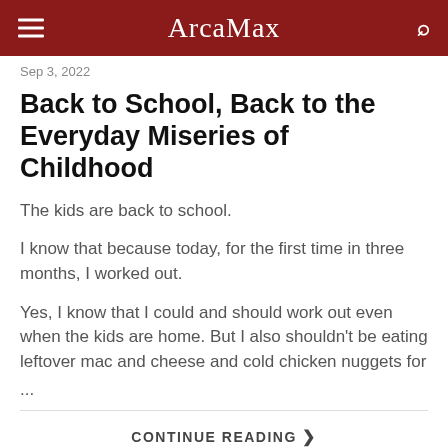ArcaMax
Sep 3, 2022
Back to School, Back to the Everyday Miseries of Childhood
The kids are back to school.
I know that because today, for the first time in three months, I worked out.
Yes, I know that I could and should work out even when the kids are home. But I also shouldn't be eating leftover mac and cheese and cold chicken nuggets for
...
CONTINUE READING ❯